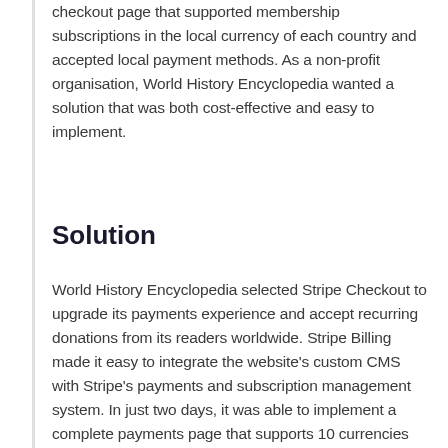checkout page that supported membership subscriptions in the local currency of each country and accepted local payment methods. As a non-profit organisation, World History Encyclopedia wanted a solution that was both cost-effective and easy to implement.
Solution
World History Encyclopedia selected Stripe Checkout to upgrade its payments experience and accept recurring donations from its readers worldwide. Stripe Billing made it easy to integrate the website's custom CMS with Stripe's payments and subscription management system. In just two days, it was able to implement a complete payments page that supports 10 currencies and 3 languages. Additionally, World History Encyclopedia also built the...